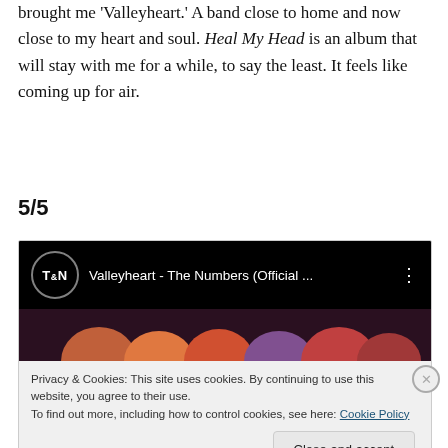brought me 'Valleyheart.' A band close to home and now close to my heart and soul. Heal My Head is an album that will stay with me for a while, to say the least. It feels like coming up for air.
5/5
[Figure (screenshot): Embedded YouTube video thumbnail for 'Valleyheart - The Numbers (Official ...' with T&N logo on black bar, showing faces of band members, with a cookie consent overlay reading: Privacy & Cookies: This site uses cookies. By continuing to use this website, you agree to their use. To find out more, including how to control cookies, see here: Cookie Policy. With a 'Close and accept' button.]